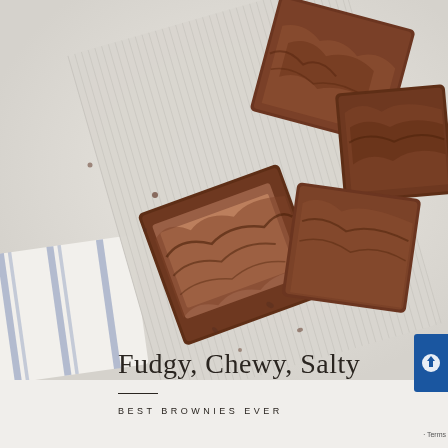[Figure (photo): Overhead photo of fudgy chocolate brownies on a white/grey striped serving board against a light background, with a blue-striped kitchen towel in the lower left and chocolate crumbs scattered on the surface.]
Fudgy, Chewy, Salty
BEST BROWNIES EVER